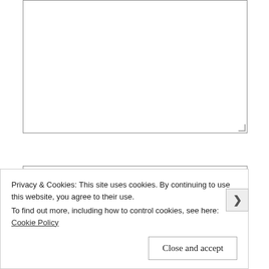[Figure (screenshot): A large empty textarea input box with resize handle at bottom-right corner]
NAME
EMAIL
Privacy & Cookies: This site uses cookies. By continuing to use this website, you agree to their use.
To find out more, including how to control cookies, see here: Cookie Policy
Close and accept